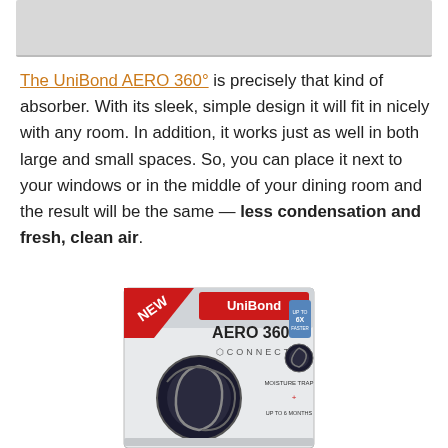[Figure (photo): Top portion of a product or room photo, cropped, showing a light gray/silver surface]
The UniBond AERO 360° is precisely that kind of absorber. With its sleek, simple design it will fit in nicely with any room. In addition, it works just as well in both large and small spaces. So, you can place it next to your windows or in the middle of your dining room and the result will be the same — less condensation and fresh, clean air.
[Figure (photo): UniBond AERO 360° CONNECT product box — white and silver packaging with red NEW banner, showing the dehumidifier device]